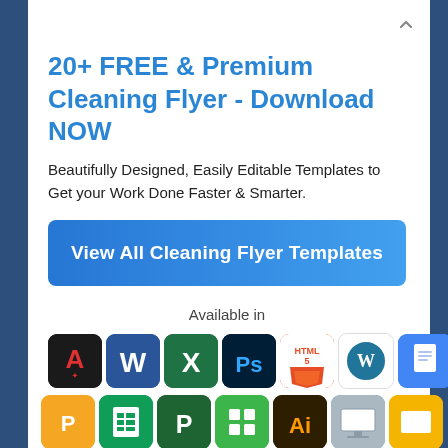20+ FREE & Premium Cleaning Flyer - Download NOW
Beautifully Designed, Easily Editable Templates to Get your Work Done Faster & Smarter.
View All Cleaning Flyer Templates
Available in
[Figure (infographic): Row of application icons: Adobe Acrobat (black), Microsoft Word (blue), Microsoft Excel (green), Photoshop (blue), HTML5 (orange), WordPress (blue), Google Docs (blue), PowerPoint (red), Adobe InDesign (pink/red). Second row: Apple Pages (yellow), Google Sheets (green), Microsoft Publisher (green), Numbers (green), Adobe Illustrator (gold/brown), Keynote (grey/blue), Google Slides (yellow).]